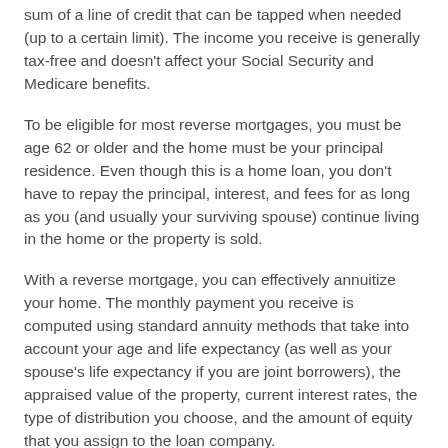sum of a line of credit that can be tapped when needed (up to a certain limit). The income you receive is generally tax-free and doesn't affect your Social Security and Medicare benefits.
To be eligible for most reverse mortgages, you must be age 62 or older and the home must be your principal residence. Even though this is a home loan, you don't have to repay the principal, interest, and fees for as long as you (and usually your surviving spouse) continue living in the home or the property is sold.
With a reverse mortgage, you can effectively annuitize your home. The monthly payment you receive is computed using standard annuity methods that take into account your age and life expectancy (as well as your spouse's life expectancy if you are joint borrowers), the appraised value of the property, current interest rates, the type of distribution you choose, and the amount of equity that you assign to the loan company.
For example, you may choose to take the loan against